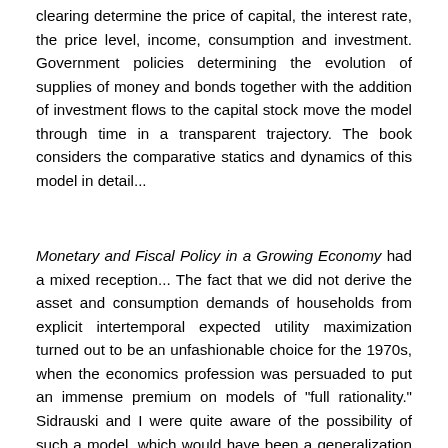clearing determine the price of capital, the interest rate, the price level, income, consumption and investment. Government policies determining the evolution of supplies of money and bonds together with the addition of investment flows to the capital stock move the model through time in a transparent trajectory. The book considers the comparative statics and dynamics of this model in detail...
Monetary and Fiscal Policy in a Growing Economy had a mixed reception... The fact that we did not derive the asset and consumption demands of households from explicit intertemporal expected utility maximization turned out to be an unfashionable choice for the 1970s, when the economics profession was persuaded to put an immense premium on models of "full rationality." Sidrauski and I were quite aware of the possibility of such a model, which would have been a generalization of his thesis work. At a conference at the University of Chicago in 1968,